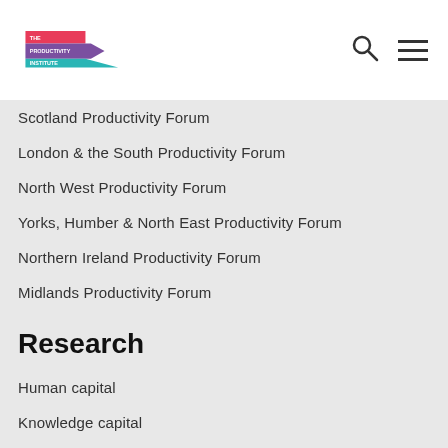The Productivity Institute
Scotland Productivity Forum
London & the South Productivity Forum
North West Productivity Forum
Yorks, Humber & North East Productivity Forum
Northern Ireland Productivity Forum
Midlands Productivity Forum
Research
Human capital
Knowledge capital
Organisational capital